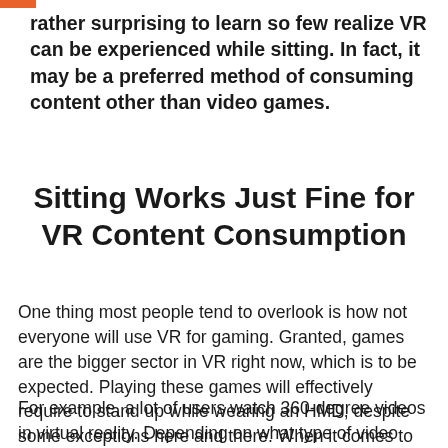rather surprising to learn so few realize VR can be experienced while sitting. In fact, it may be a preferred method of consuming content other than video games.
Sitting Works Just Fine for VR Content Consumption
One thing most people tend to overlook is how not everyone will use VR for gaming. Granted, games are the bigger sector in VR right now, which is to be expected. Playing these games will effectively require to stand up while wearing an HMD, despite some exceptions here and there. When it comes to different types of VR content, standing is optional.
For example, a lot of users watch 360-degree videos in virtual reality. Depending on what type of video content this is, they will either use a seated or standing position. For